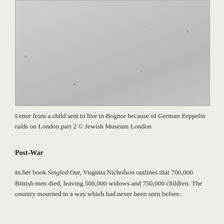[Figure (photo): A historical document or letter, shown as a faded greyscale photographic image. The surface appears blank or very lightly marked, with a few small dust spots visible.]
Letter from a child sent to live in Bognor because of German Zeppelin raids on London part 2 © Jewish Museum London
Post-War
In her book Singled Out, Virginia Nicholson outlines that 700,000 British men died, leaving 500,000 widows and 750,000 children. The country mourned in a way which had never been seen before.